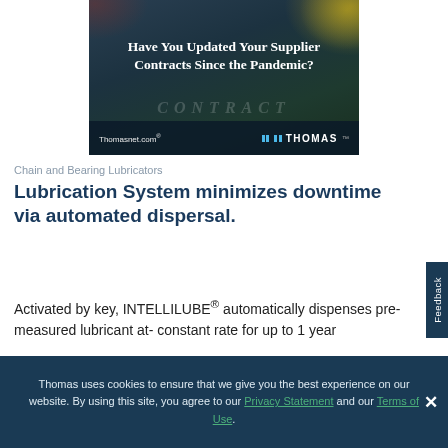[Figure (illustration): Thomasnet.com advertisement banner with dark blue-green background, text 'Have You Updated Your Supplier Contracts Since the Pandemic?', a contract stamp/badge graphic, and Thomas logo at bottom.]
Chain and Bearing Lubricators
Lubrication System minimizes downtime via automated dispersal.
Activated by key, INTELLILUBE® automatically dispenses pre-measured lubricant at- constant rate for up to 1 year
Thomas uses cookies to ensure that we give you the best experience on our website. By using this site, you agree to our Privacy Statement and our Terms of Use.